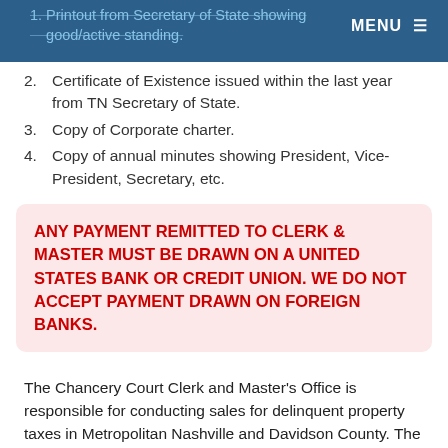Printout from Secretary of State showing good/active standing. MENU
2. Certificate of Existence issued within the last year from TN Secretary of State.
3. Copy of Corporate charter.
4. Copy of annual minutes showing President, Vice-President, Secretary, etc.
ANY PAYMENT REMITTED TO CLERK & MASTER MUST BE DRAWN ON A UNITED STATES BANK OR CREDIT UNION. WE DO NOT ACCEPT PAYMENT DRAWN ON FOREIGN BANKS.
The Chancery Court Clerk and Master's Office is responsible for conducting sales for delinquent property taxes in Metropolitan Nashville and Davidson County. The procedure is an open public auction. To participate